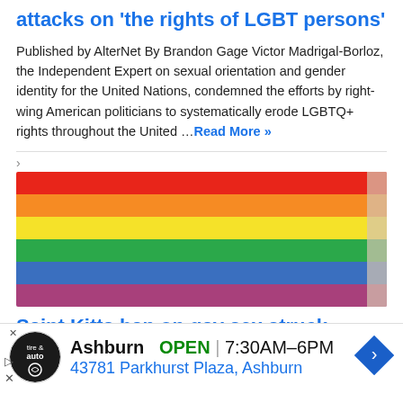attacks on 'the rights of LGBT persons'
Published by AlterNet By Brandon Gage Victor Madrigal-Borloz, the Independent Expert on sexual orientation and gender identity for the United Nations, condemned the efforts by right-wing American politicians to systematically erode LGBTQ+ rights throughout the United …Read More »
[Figure (photo): Rainbow Pride flag with horizontal stripes in red, orange, yellow, green, blue, and pink colors.]
Saint Kitts ban on gay sex struck
Ashburn   OPEN  7:30AM–6PM
43781 Parkhurst Plaza, Ashburn